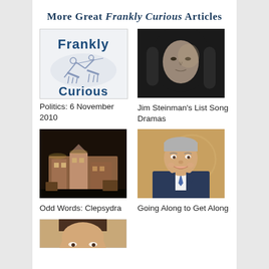More Great Frankly Curious Articles
[Figure (logo): Frankly Curious logo with knights on horseback]
Politics: 6 November 2010
[Figure (photo): Black and white portrait of Jim Steinman with long hair]
Jim Steinman's List Song Dramas
[Figure (photo): Photo of a miniature model building display]
Odd Words: Clepsydra
[Figure (photo): Portrait photo of a smiling man in suit with blue tie, official background]
Going Along to Get Along
[Figure (photo): Partial photo of a person, cropped at bottom of page]